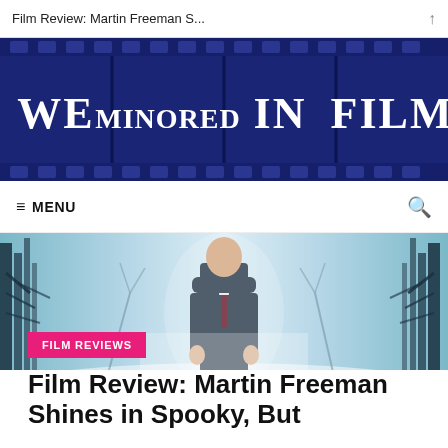Film Review: Martin Freeman S...
[Figure (logo): We Minored In Film logo banner — dark blue film strip background with white text tiles: WE, MINORED, IN, FILM]
≡ MENU
[Figure (photo): Hero image of a man in a dark suit standing centered in a misty forest scene with bare trees, teal/blue tones]
FILM REVIEWS
Film Review: Martin Freeman Shines in Spooky, But